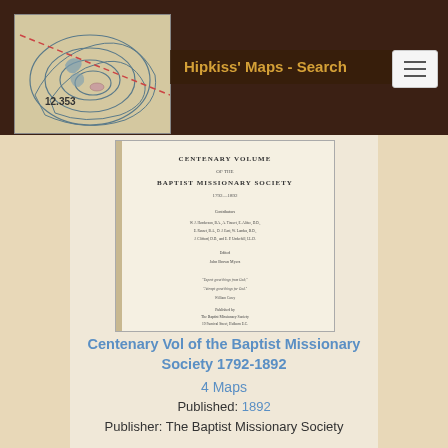Hipkiss' Maps - Search
[Figure (map): Topographic map thumbnail with contour lines and dashed red line, showing number 12.353]
[Figure (photo): Book cover of Centenary Volume of the Baptist Missionary Society showing title page with contributors and publication details]
Centenary Vol of the Baptist Missionary Society 1792-1892
4 Maps
Published: 1892
Publisher: The Baptist Missionary Society